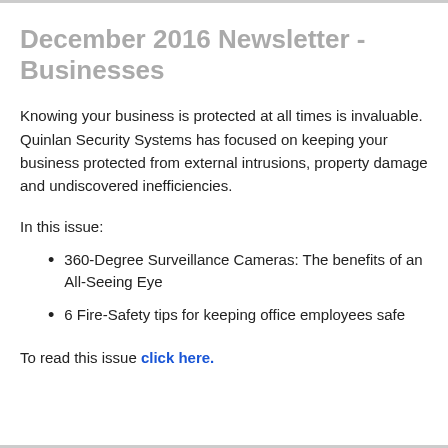December 2016 Newsletter - Businesses
Knowing your business is protected at all times is invaluable. Quinlan Security Systems has focused on keeping your business protected from external intrusions, property damage and undiscovered inefficiencies.
In this issue:
360-Degree Surveillance Cameras: The benefits of an All-Seeing Eye
6 Fire-Safety tips for keeping office employees safe
To read this issue click here.